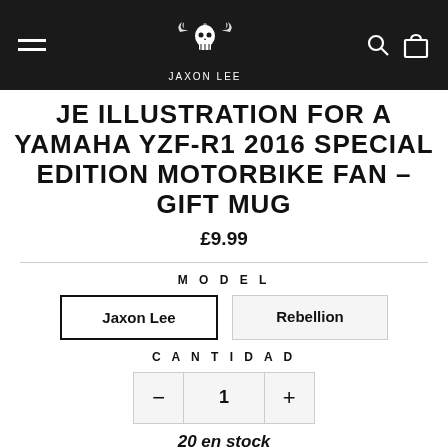[Figure (logo): Jaxon Lee brand logo — skull with wings, EST 1973, on black navigation bar with hamburger menu, search and cart icons]
JE ILLUSTRATION FOR A YAMAHA YZF-R1 2016 SPECIAL EDITION MOTORBIKE FAN – GIFT MUG
£9.99
MODEL
Jaxon Lee   Rebellion
CANTIDAD
1
20 en stock